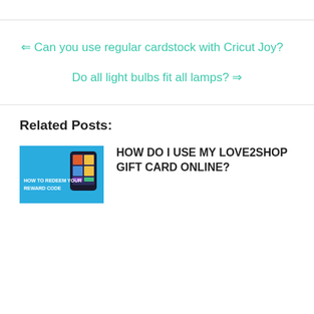← Can you use regular cardstock with Cricut Joy?
Do all light bulbs fit all lamps? ⇒
Related Posts:
[Figure (photo): Thumbnail image with blue background showing a phone and text 'HOW TO REDEEM YOUR REWARD CODE']
HOW DO I USE MY LOVE2SHOP GIFT CARD ONLINE?